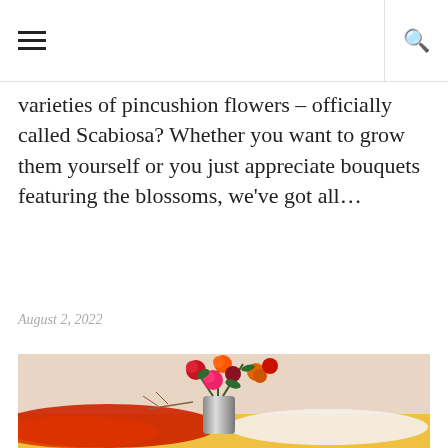≡  🔍
varieties of pincushion flowers – officially called Scabiosa? Whether you want to grow them yourself or you just appreciate bouquets featuring the blossoms, we've got all…
August 2, 2022
[Figure (photo): A floral arrangement in a metallic vase with red roses, pink roses, orange and red gerbera daisies and other flowers, placed on a yellow surface with red and white fabric draped around it, against a beige background.]